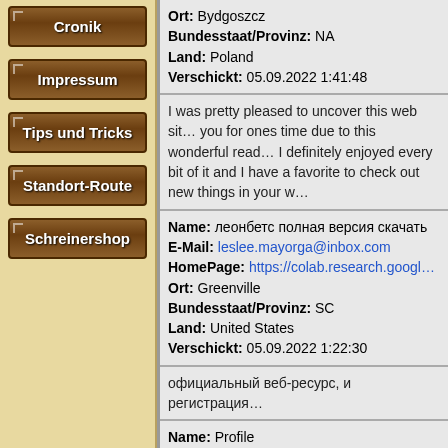Cronik
Impressum
Tips und Tricks
Standort-Route
Schreinershop
Ort: Bydgoszcz
Bundesstaat/Provinz: NA
Land: Poland
Verschickt: 05.09.2022 1:41:48
I was pretty pleased to uncover this web sit... you for ones time due to this wonderful read... I definitely enjoyed every bit of it and I have a favorite to check out new things in your w...
Name: леонбетс полная версия скачать
E-Mail: leslee.mayorga@inbox.com
HomePage: https://colab.research.googl...
Ort: Greenville
Bundesstaat/Provinz: SC
Land: United States
Verschickt: 05.09.2022 1:22:30
официальный веб-ресурс, и регистрация...
Name: Profile
E-Mail: lori.hillary@aol.com
HomePage: https://www.fxstat.com/en/us...
Ort: Bald Hills
Bundesstaat/Provinz: NSW
Land: Australia
Verschickt: 05.09.2022 1:03:11
Your means of telling all in this paragraph is...